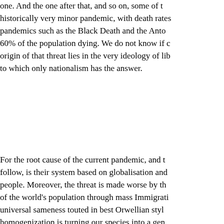one. And the one after that, and so on, some of those historically very minor pandemic, with death rates pandemics such as the Black Death and the Anto 60% of the population dying. We do not know if origin of that threat lies in the very ideology of lib to which only nationalism has the answer.
For the root cause of the current pandemic, and follow, is their system based on globalisation and people. Moreover, the threat is made worse by th of the world's population through mass Immigrati universal sameness touted in best Orwellian styl homogenization is turning our species into a gen monocultures, be they of crops, cattle or people,
The best defence against future pandemics, the viruses, is to replace the current globalised world distinct nations, independent and as far as possibl new diseases are kept out behind strong, impern quarantines on all arrivals. That world nationalism
As recent events have shown, the globalist, inter our national and racial identities, about which no